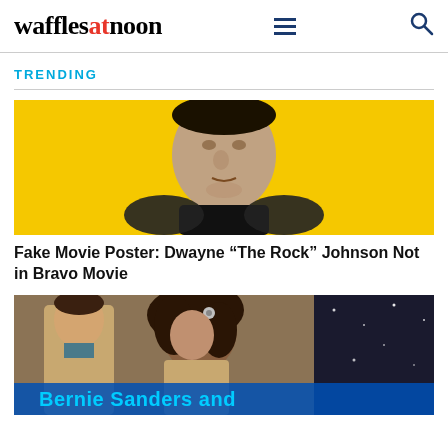wafflesatnoon
TRENDING
[Figure (photo): A muscular man (Dwayne Johnson likeness) in a black shirt against a yellow background, shown from chest up, digitally illustrated movie poster style]
Fake Movie Poster: Dwayne “The Rock” Johnson Not in Bravo Movie
[Figure (photo): Two people in a romantic scene, woman with curly dark hair, with blue text overlay reading 'Bernie Sanders and']